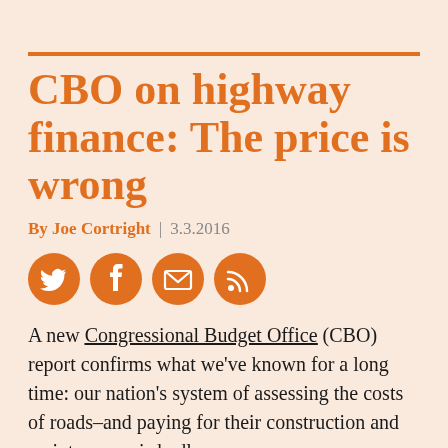CBO on highway finance: The price is wrong
By Joe Cortright | 3.3.2016
[Figure (illustration): Four orange circular social media icons: Twitter, Facebook, Email, RSS feed]
A new Congressional Budget Office (CBO) report confirms what we've known for a long time: our nation's system of assessing the costs of roads–and paying for their construction and maintenance–is badly